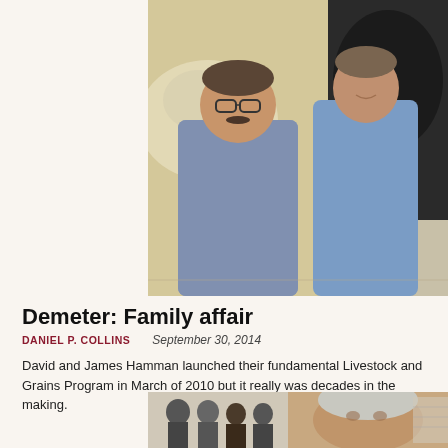[Figure (photo): Two men standing side by side in blue shirts in front of artwork depicting livestock]
Demeter: Family affair
DANIEL P. COLLINS   September 30, 2014
David and James Hamman launched their fundamental Livestock and Grains Program in March of 2010 but it really was decades in the making.
[Figure (photo): Older man with gray hair, with a black-and-white photograph visible in the background showing a group of people]